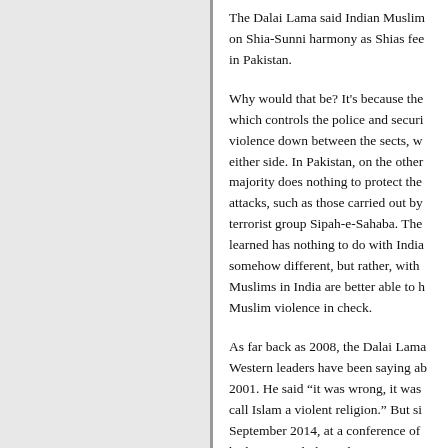The Dalai Lama said Indian Muslims on Shia-Sunni harmony as Shias fee in Pakistan. Why would that be? It's because the which controls the police and securi violence down between the sects, w either side. In Pakistan, on the other majority does nothing to protect the attacks, such as those carried out by terrorist group Sipah-e-Sahaba. The learned has nothing to do with India somehow different, but rather, with Muslims in India are better able to h Muslim violence in check. As far back as 2008, the Dalai Lama Western leaders have been saying ab 2001. He said "it was wrong, it was call Islam a violent religion." But si September 2014, at a conference of had organized, the Dalai Lama seem